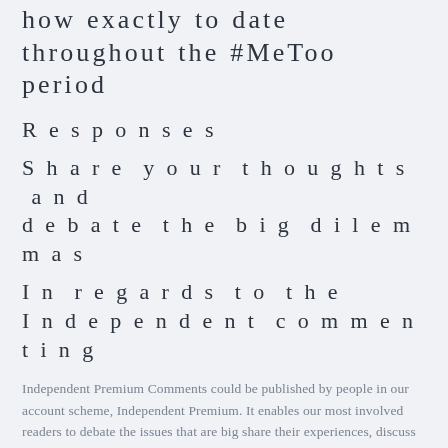how exactly to date throughout the #MeToo period
Responses
Share your thoughts and debate the big dilemmas
In regards to the Independent commenting
Independent Premium Comments could be published by people in our account scheme, Independent Premium. It enables our most involved readers to debate the issues that are big share their experiences, discuss real-world solutions, and much more. Our reporters will endeavour to react by joining the threads once they can to generate a true conference of separate Premium. The absolute most insightful commentary on all topics are going to be posted daily in specific articles. You can even decide to get emailed whenever somebody replies to your remark.
The current Open Comments threads will continue to occur for many who usually do not donate to Independent Premium. As a result of scale that is sheer of comment community, we have been able to offer the comment on the comments...